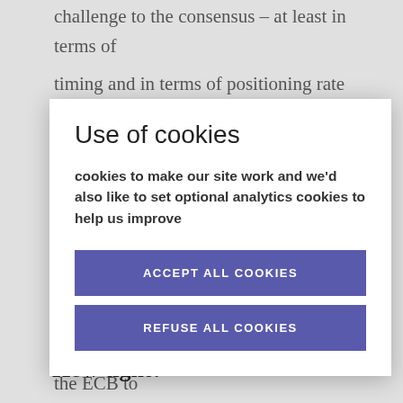challenge to the consensus – at least in terms of timing and in terms of positioning rate hikes with the winding down of asset purchases. From a market point of view, the need for the Fed to maintain an expectation of getting the Fed Funds rate to 3% or above and the need for the ECB to convince us that rates will be increased at some point means that there is little scope for short-term bond yields to come down much any time soon. So, curve flattening – especially in the short-end of the curve between overnight rates and the 2-yr to 3-yr sector – will continue.
How tight?
[Figure (other): Cookie consent modal overlay with title 'Use of cookies', body text about cookies to make our site work and optional analytics cookies, with two buttons: ACCEPT ALL COOKIES and REFUSE ALL COOKIES]